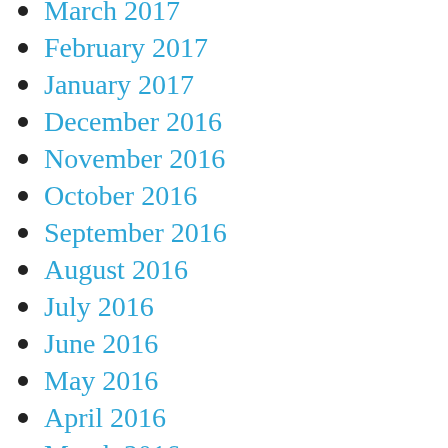March 2017
February 2017
January 2017
December 2016
November 2016
October 2016
September 2016
August 2016
July 2016
June 2016
May 2016
April 2016
March 2016
February 2016
January 2016
November 2015
October 2015